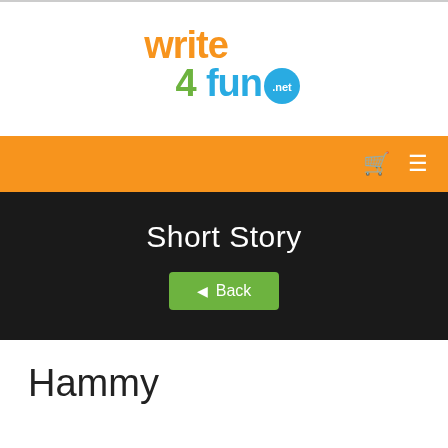[Figure (logo): write4fun.net logo — 'write' in orange, '4' in green, 'fun' in blue, '.net' in white on a teal circle]
Short Story
Short Story
◄ Back
Hammy